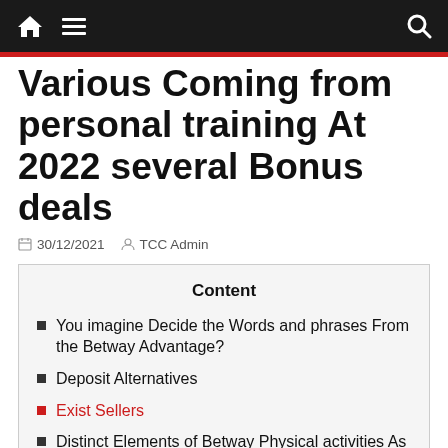Navigation bar with home icon, menu icon, and search icon
Various Coming from personal training At 2022 several Bonus deals
30/12/2021  TCC Admin
Content
You imagine Decide the Words and phrases From the Betway Advantage?
Deposit Alternatives
Exist Sellers
Distinct Elements of Betway Physical activities As well as begin Casino